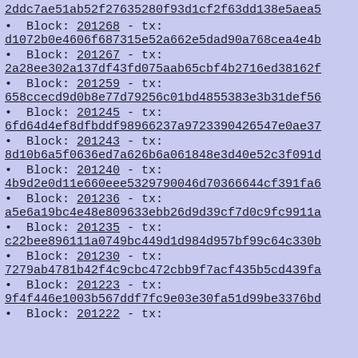2ddc7ae51ab52f27635280f93d1cf2f63dd138e5aea5
Block: 201268 - tx: d1072b0e4606f687315e52a662e5dad90a768cea4e4b
Block: 201267 - tx: 2a28ee302a137df43fd075aab65cbf4b2716ed38162f
Block: 201259 - tx: 658ccecd9d0b8e77d79256c01bd4855383e3b31def56
Block: 201245 - tx: 6fd64d4ef8dfbddf98966237a9723390426547e0ae37
Block: 201243 - tx: 8d10b6a5f0636ed7a626b6a061848e3d40e52c3f091d
Block: 201240 - tx: 4b9d2e0d11e660eee5329790046d70366644cf391fa6
Block: 201236 - tx: a5e6a19bc4e48e809633ebb26d9d39cf7d0c9fc9911a
Block: 201235 - tx: c22bee896111a0749bc449d1d984d957bf99c64c330b
Block: 201230 - tx: 7279ab4781b42f4c9cbc472cbb9f7acf435b5cd439fa
Block: 201223 - tx: 9f4f446e1003b567ddf7fc9e03e30fa51d99be3376bd
Block: 201222 - tx: